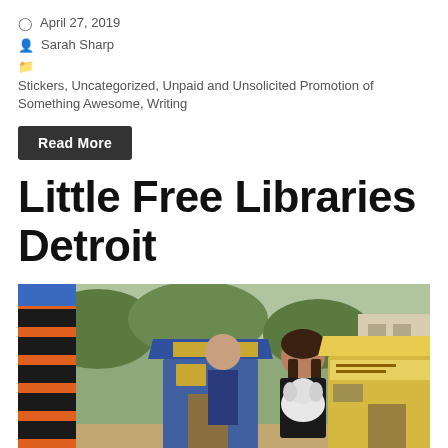April 27, 2019
Sarah Sharp
Stickers, Uncategorized, Unpaid and Unsolicited Promotion of Something Awesome, Writing
Read More
Little Free Libraries Detroit
[Figure (photo): A woman holding a small white dog stands outdoors in front of several Little Free Library boxes. Behind her are three other people. The libraries are colorful — one on the far left has orange and black stripes, a blue one in the center, and a yellow one on the right. Trees and a building are visible in the background.]